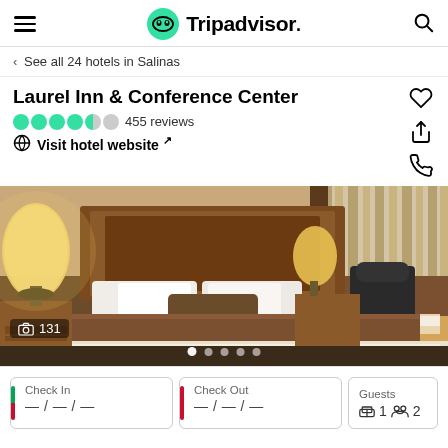Tripadvisor
< See all 24 hotels in Salinas
Laurel Inn & Conference Center
455 reviews
Visit hotel website ↗
[Figure (photo): Hotel room photo showing a king bed with wooden headboard, bedside lamps, and a desk area with chair and window with sheer curtains. Photo count: 131.]
Check In — / — / —
Check Out — / — / —
Guests 1 room, 2 people